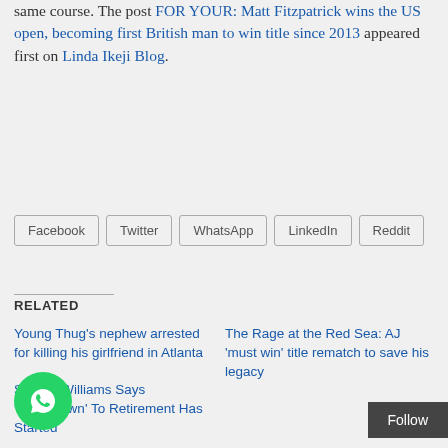same course. The post FOR YOUR: Matt Fitzpatrick wins the US open, becoming first British man to win title since 2013 appeared first on Linda Ikeji Blog.
Facebook  Twitter  WhatsApp  LinkedIn  Reddit
RELATED
Young Thug's nephew arrested for killing his girlfriend in Atlanta
The Rage at the Red Sea: AJ 'must win' title rematch to save his legacy
Serena Williams Says 'Countdown' To Retirement Has Started